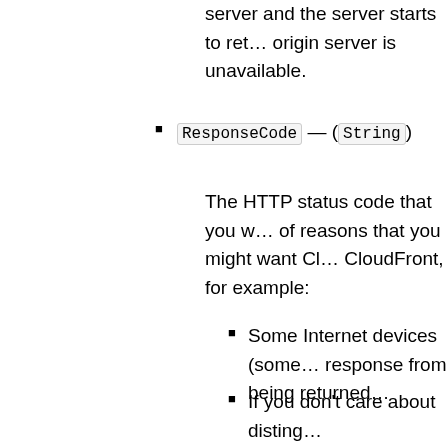server and the server starts to ret... origin server is unavailable.
ResponseCode — (String)
The HTTP status code that you w... of reasons that you might want Cl... CloudFront, for example:
Some Internet devices (some... response from being returned...
If you don't care about disting... ResponseCode for all 4xx ...
You might want to return a 2... down.
If you specify a value for Respon... specify a value, include an empty...
ErrorCachingMinTTL — (In...